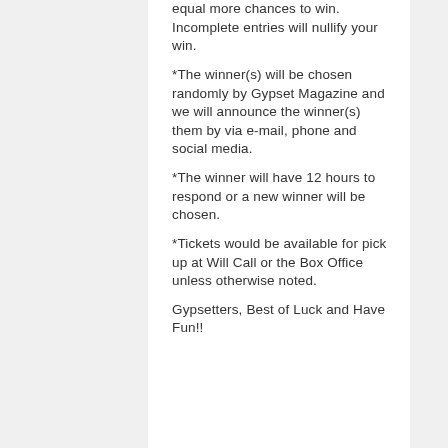equal more chances to win. Incomplete entries will nullify your win.
*The winner(s) will be chosen randomly by Gypset Magazine and we will announce the winner(s) them by via e-mail, phone and social media.
*The winner will have 12 hours to respond or a new winner will be chosen.
*Tickets would be available for pick up at Will Call or the Box Office unless otherwise noted.
Gypsetters, Best of Luck and Have Fun!!